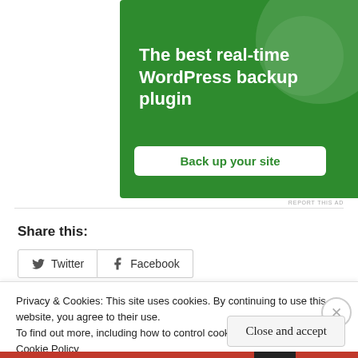[Figure (other): Green advertisement banner for a WordPress backup plugin. Shows text 'The best real-time WordPress backup plugin' with a 'Back up your site' button on white rounded rectangle.]
REPORT THIS AD
Share this:
Twitter   Facebook
Privacy & Cookies: This site uses cookies. By continuing to use this website, you agree to their use.
To find out more, including how to control cookies, see here: Cookie Policy
Close and accept